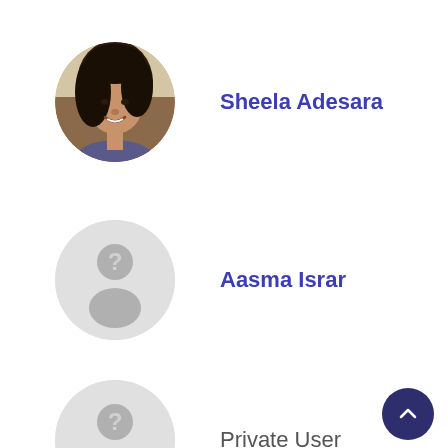[Figure (photo): Profile photo of Sheela Adesara, a woman with dark hair, smiling, shown in a circular crop]
Sheela Adesara
[Figure (illustration): Generic placeholder avatar circle with question mark and silhouette, light gray]
Aasma Israr
[Figure (illustration): Generic placeholder avatar circle with question mark and silhouette, light gray]
Private User